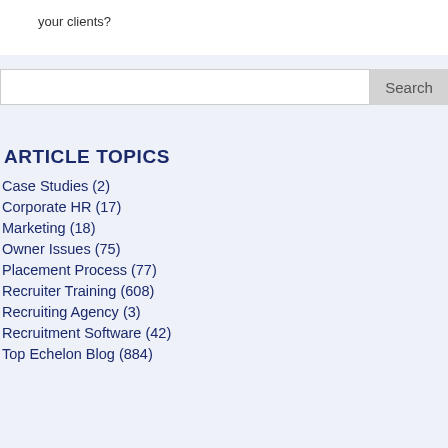your clients?
ARTICLE TOPICS
Case Studies (2)
Corporate HR (17)
Marketing (18)
Owner Issues (75)
Placement Process (77)
Recruiter Training (608)
Recruiting Agency (3)
Recruitment Software (42)
Top Echelon Blog (884)